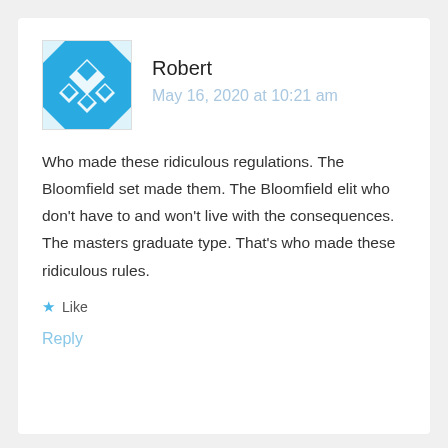[Figure (illustration): Avatar image: blue square with white geometric diamond and arrow pattern]
Robert
May 16, 2020 at 10:21 am
Who made these ridiculous regulations. The Bloomfield set made them. The Bloomfield elit who don't have to and won't live with the consequences. The masters graduate type. That's who made these ridiculous rules.
Like
Reply